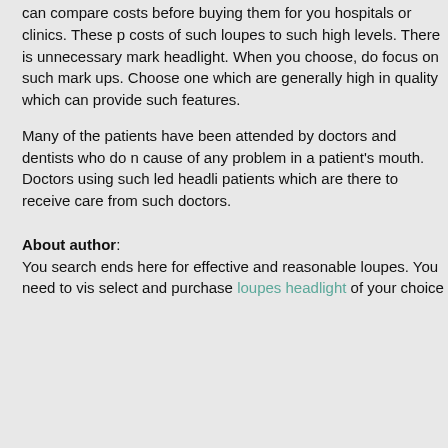can compare costs before buying them for you hospitals or clinics. These p costs of such loupes to such high levels. There is unnecessary mark headlight. When you choose, do focus on such mark ups. Choose one which are generally high in quality which can provide such features.
Many of the patients have been attended by doctors and dentists who do n cause of any problem in a patient's mouth. Doctors using such led headli patients which are there to receive care from such doctors.
About author:
You search ends here for effective and reasonable loupes. You need to vis select and purchase loupes headlight of your choice